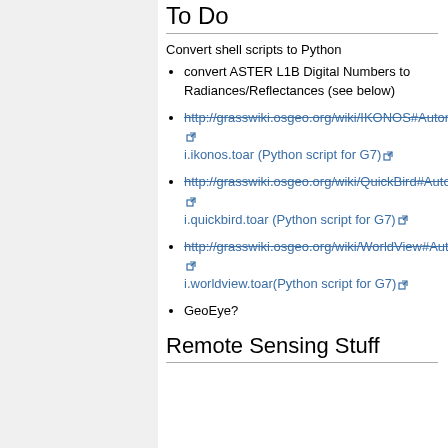To Do
Convert shell scripts to Python
convert ASTER L1B Digital Numbers to Radiances/Reflectances (see below)
http://grasswiki.osgeo.org/wiki/IKONOS#Automatising_Conversions i.ikonos.toar (Python script for G7)
http://grasswiki.osgeo.org/wiki/QuickBird#Automatising_Conversions i.quickbird.toar (Python script for G7)
http://grasswiki.osgeo.org/wiki/WorldView#Automatising_Conversions i.worldview.toar(Python script for G7)
GeoEye?
Remote Sensing Stuff